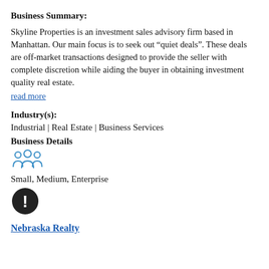Business Summary:
Skyline Properties is an investment sales advisory firm based in Manhattan. Our main focus is to seek out “quiet deals”. These deals are off-market transactions designed to provide the seller with complete discretion while aiding the buyer in obtaining investment quality real estate.
read more
Industry(s):
Industrial | Real Estate | Business Services
Business Details
[Figure (illustration): People/group icon in blue outline style representing business size categories]
Small, Medium, Enterprise
[Figure (illustration): Black circular alert/exclamation icon]
Nebraska Realty